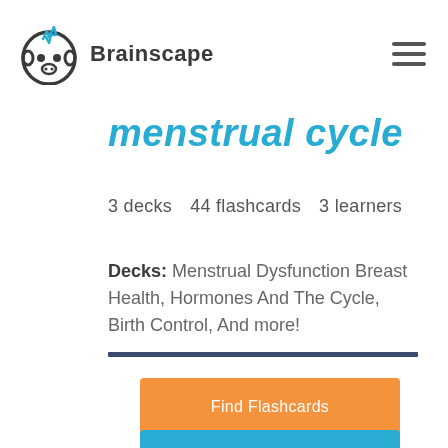Brainscape
menstrual cycle
3 decks   44 flashcards   3 learners
Decks: Menstrual Dysfunction Breast Health, Hormones And The Cycle, Birth Control, And more!
[Figure (other): Orange button labeled Find Flashcards]
[Figure (other): Blue button labeled Make Flashcards (partially visible at bottom)]